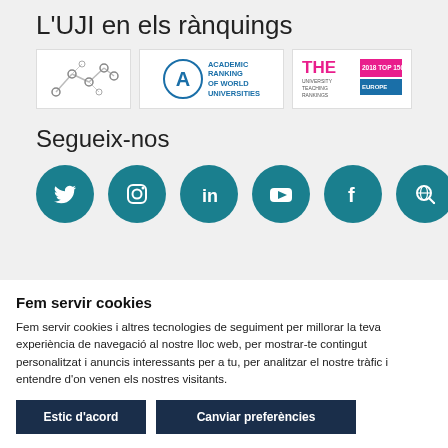L'UJI en els rànquings
[Figure (logo): Three logos: a graph/network chart logo, Academic Ranking of World Universities (ARWU) logo, and Times Higher Education (THE) 2018 Top 150 Europe logo]
Segueix-nos
[Figure (infographic): Six teal circular social media icons: Twitter, Instagram, LinkedIn, YouTube, Facebook, and a globe/search icon]
Fem servir cookies
Fem servir cookies i altres tecnologies de seguiment per millorar la teva experiència de navegació al nostre lloc web, per mostrar-te contingut personalitzat i anuncis interessants per a tu, per analitzar el nostre tràfic i entendre d'on venen els nostres visitants.
Estic d'acord
Canviar preferències